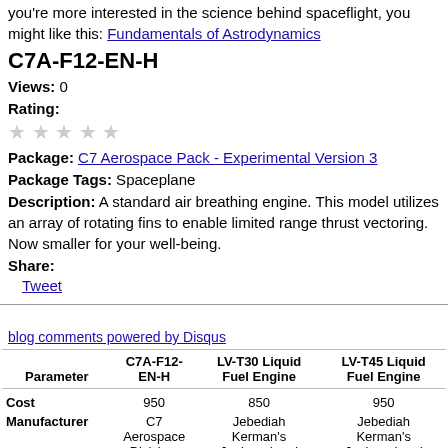you're more interested in the science behind spaceflight, you might like this: Fundamentals of Astrodynamics
C7A-F12-EN-H
Views: 0
Rating:
★★★★★ (empty stars)
Package: C7 Aerospace Pack - Experimental Version 3
Package Tags: Spaceplane
Description: A standard air breathing engine. This model utilizes an array of rotating fins to enable limited range thrust vectoring. Now smaller for your well-being.
Share:
Tweet
blog comments powered by Disqus
| Parameter | C7A-F12-EN-H | LV-T30 Liquid Fuel Engine | LV-T45 Liquid Fuel Engine |
| --- | --- | --- | --- |
| Cost | 950 | 850 | 950 |
| Manufacturer | C7 Aerospace Division. | Jebediah Kerman's Junkyard and Spaceship Parts | Jebediah Kerman's Junkyard and Spaceship Parts |